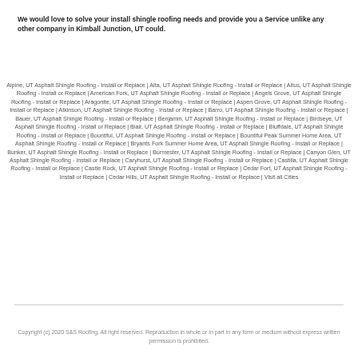We would love to solve your install shingle roofing needs and provide you a Service unlike any other company in Kimball Junction, UT could.
Alpine, UT Asphalt Shingle Roofing - Install or Replace | Alta, UT Asphalt Shingle Roofing - Install or Replace | Altus, UT Asphalt Shingle Roofing - Install or Replace | American Fork, UT Asphalt Shingle Roofing - Install or Replace | Angels Grove, UT Asphalt Shingle Roofing - Install or Replace | Aragonite, UT Asphalt Shingle Roofing - Install or Replace | Aspen Grove, UT Asphalt Shingle Roofing - Install or Replace | Atkinson, UT Asphalt Shingle Roofing - Install or Replace | Barro, UT Asphalt Shingle Roofing - Install or Replace | Bauer, UT Asphalt Shingle Roofing - Install or Replace | Benjamin, UT Asphalt Shingle Roofing - Install or Replace | Birdseye, UT Asphalt Shingle Roofing - Install or Replace | Blair, UT Asphalt Shingle Roofing - Install or Replace | Bluffdale, UT Asphalt Shingle Roofing - Install or Replace | Bountiful, UT Asphalt Shingle Roofing - Install or Replace | Bountiful Peak Summer Home Area, UT Asphalt Shingle Roofing - Install or Replace | Bryants Fork Summer Home Area, UT Asphalt Shingle Roofing - Install or Replace | Bunker, UT Asphalt Shingle Roofing - Install or Replace | Burmester, UT Asphalt Shingle Roofing - Install or Replace | Canyon Glen, UT Asphalt Shingle Roofing - Install or Replace | Caryhurst, UT Asphalt Shingle Roofing - Install or Replace | Castilla, UT Asphalt Shingle Roofing - Install or Replace | Castle Rock, UT Asphalt Shingle Roofing - Install or Replace | Cedar Fort, UT Asphalt Shingle Roofing - Install or Replace | Cedar Hills, UT Asphalt Shingle Roofing - Install or Replace | Visit all Cities
Copyright (c) 2020 S&S Roofing. All right reserved. Reproduction in whole or in part in any form or medium without express written permission is prohibited.